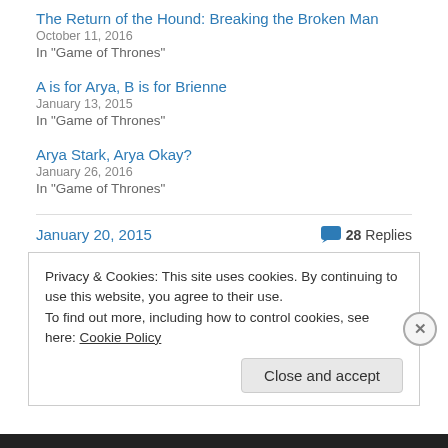The Return of the Hound: Breaking the Broken Man
October 11, 2016
In "Game of Thrones"
A is for Arya, B is for Brienne
January 13, 2015
In "Game of Thrones"
Arya Stark, Arya Okay?
January 26, 2016
In "Game of Thrones"
January 20, 2015   28 Replies
Privacy & Cookies: This site uses cookies. By continuing to use this website, you agree to their use. To find out more, including how to control cookies, see here: Cookie Policy
Close and accept